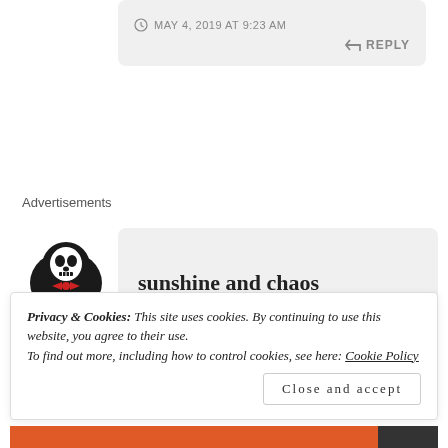MAY 4, 2019 AT 9:23 AM
REPLY
Advertisements
[Figure (logo): Skull/cartoon character logo in black and red for sunshine and chaos blog]
sunshine and chaos
Privacy & Cookies: This site uses cookies. By continuing to use this website, you agree to their use.
To find out more, including how to control cookies, see here: Cookie Policy
Close and accept